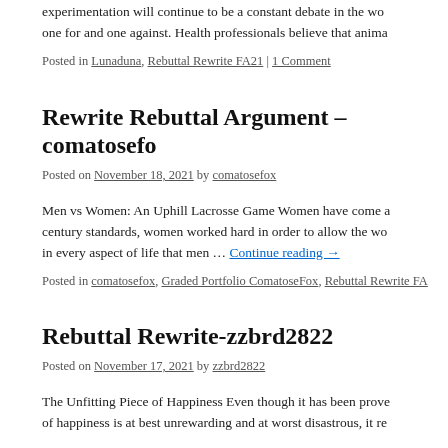experimentation will continue to be a constant debate in the wo one for and one against. Health professionals believe that anima
Posted in Lunaduna, Rebuttal Rewrite FA21 | 1 Comment
Rewrite Rebuttal Argument – comatosefo
Posted on November 18, 2021 by comatosefox
Men vs Women: An Uphill Lacrosse Game Women have come a century standards, women worked hard in order to allow the wo in every aspect of life that men … Continue reading →
Posted in comatosefox, Graded Portfolio ComatoseFox, Rebuttal Rewrite FA
Rebuttal Rewrite-zzbrd2822
Posted on November 17, 2021 by zzbrd2822
The Unfitting Piece of Happiness Even though it has been prove of happiness is at best unrewarding and at worst disastrous, it re